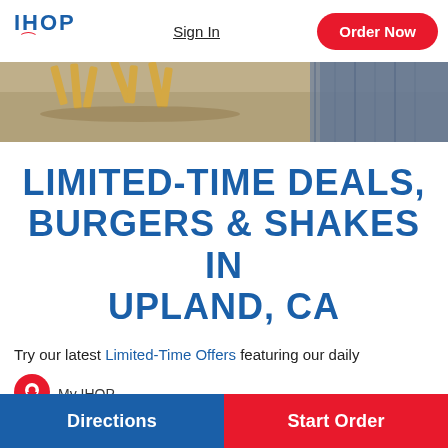[Figure (logo): IHOP logo with blue text and red smile]
Sign In
Order Now
[Figure (photo): Food photo showing french fries on a table with denim fabric]
LIMITED-TIME DEALS, BURGERS & SHAKES IN UPLAND, CA
Try our latest Limited-Time Offers featuring our daily
My IHOP
Directions
Start Order